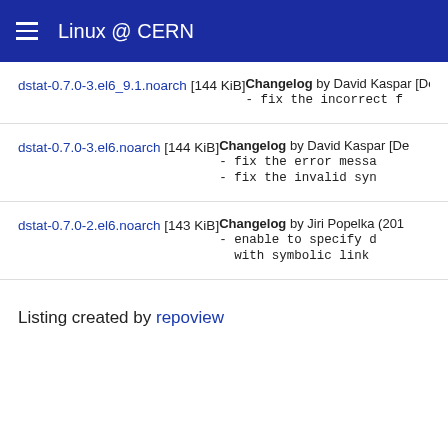Linux @ CERN
dstat-0.7.0-3.el6_9.1.noarch [144 KiB] — Changelog by David Kaspar [De... - fix the incorrect f...
dstat-0.7.0-3.el6.noarch [144 KiB] — Changelog by David Kaspar [De... - fix the error messa... - fix the invalid syn...
dstat-0.7.0-2.el6.noarch [143 KiB] — Changelog by Jiri Popelka (201... - enable to specify d... with symbolic link
Listing created by repoview